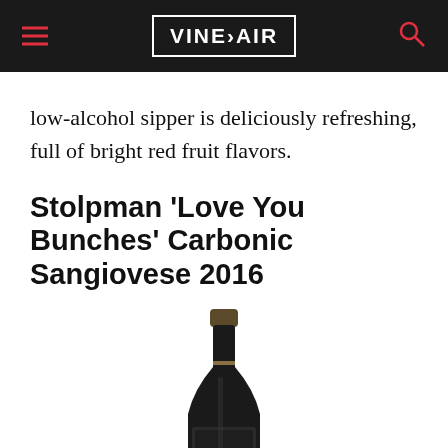VINEPAIR
low-alcohol sipper is deliciously refreshing, full of bright red fruit flavors.
Stolpman ‘Love You Bunches’ Carbonic Sangiovese 2016
[Figure (photo): Dark wine bottle with narrow neck and gold/dark capsule, showing a Stolpman wine bottle against white background]